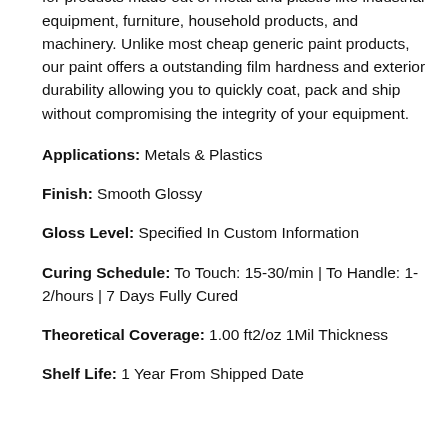component. This quick dry enamel is especially useful for products made out of metal and plastic like industrial equipment, furniture, household products, and machinery. Unlike most cheap generic paint products, our paint offers a outstanding film hardness and exterior durability allowing you to quickly coat, pack and ship without compromising the integrity of your equipment.
Applications: Metals & Plastics
Finish: Smooth Glossy
Gloss Level: Specified In Custom Information
Curing Schedule: To Touch: 15-30/min | To Handle: 1-2/hours | 7 Days Fully Cured
Theoretical Coverage: 1.00 ft2/oz 1Mil Thickness
Shelf Life: 1 Year From Shipped Date